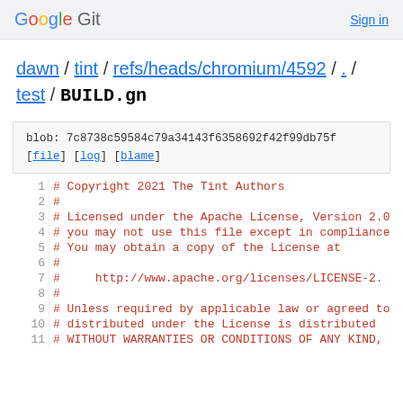Google Git   Sign in
dawn / tint / refs/heads/chromium/4592 / . / test / BUILD.gn
blob: 7c8738c59584c79a34143f6358692f42f99db75f [file] [log] [blame]
1  # Copyright 2021 The Tint Authors
2  #
3  # Licensed under the Apache License, Version 2.0
4  # you may not use this file except in compliance
5  # You may obtain a copy of the License at
6  #
7  #      http://www.apache.org/licenses/LICENSE-2.
8  #
9  # Unless required by applicable law or agreed to
10 # distributed under the License is distributed
11 # WITHOUT WARRANTIES OR CONDITIONS OF ANY KIND,